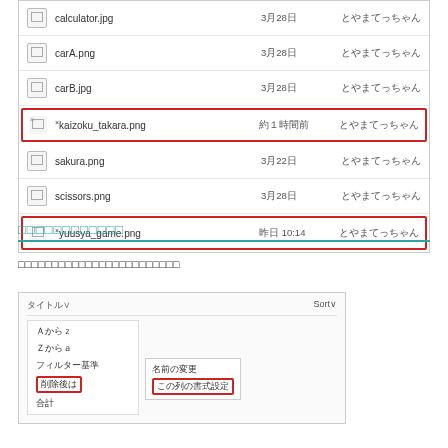[Figure (screenshot): File list showing image files: calculator.jpg, carA.png, carB.jpg, kaizoku_takara.png (highlighted), sakura.png, scissors.png, yuusya_game.png (highlighted), with dates and user name とやまてっちゃん]
□□□□□□□□□□□□
□□□□□□□□□□□□□□□□□□□□□□□□
[Figure (screenshot): Dropdown menu showing sort options: タイトル, AからZ, ZからA, フィルター基準, 削除後は (highlighted), 合計, with submenu showing 名前の変更 and この列の書式設定 (highlighted)]